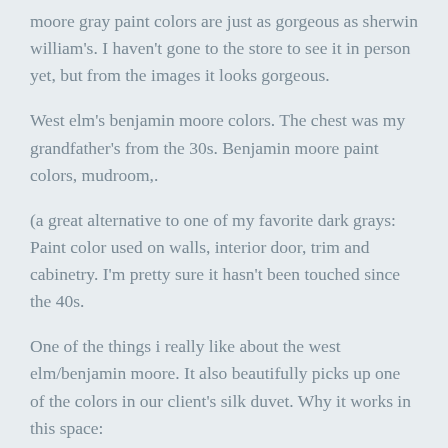moore gray paint colors are just as gorgeous as sherwin william's. I haven't gone to the store to see it in person yet, but from the images it looks gorgeous.
West elm's benjamin moore colors. The chest was my grandfather's from the 30s. Benjamin moore paint colors, mudroom,.
(a great alternative to one of my favorite dark grays: Paint color used on walls, interior door, trim and cabinetry. I'm pretty sure it hasn't been touched since the 40s.
One of the things i really like about the west elm/benjamin moore. It also beautifully picks up one of the colors in our client's silk duvet. Why it works in this space: